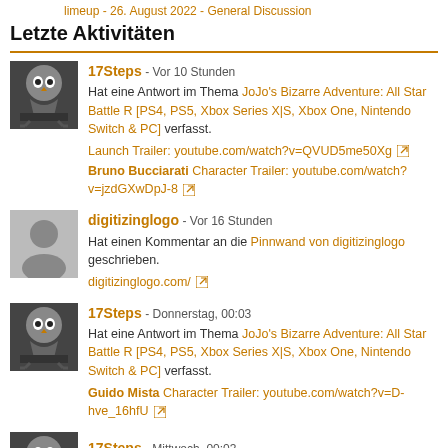limeup - 26. August 2022 - General Discussion
Letzte Aktivitäten
17Steps - Vor 10 Stunden
Hat eine Antwort im Thema JoJo's Bizarre Adventure: All Star Battle R [PS4, PS5, Xbox Series X|S, Xbox One, Nintendo Switch & PC] verfasst.
Launch Trailer: youtube.com/watch?v=QVUD5me50Xg
Bruno Bucciarati Character Trailer: youtube.com/watch?v=jzdGXwDpJ-8
digitizinglogo - Vor 16 Stunden
Hat einen Kommentar an die Pinnwand von digitizinglogo geschrieben.
digitizinglogo.com/
17Steps - Donnerstag, 00:03
Hat eine Antwort im Thema JoJo's Bizarre Adventure: All Star Battle R [PS4, PS5, Xbox Series X|S, Xbox One, Nintendo Switch & PC] verfasst.
Guido Mista Character Trailer: youtube.com/watch?v=D-hve_16hfU
[Figure (photo): Partial avatar at bottom, owl silhouette on dark background]